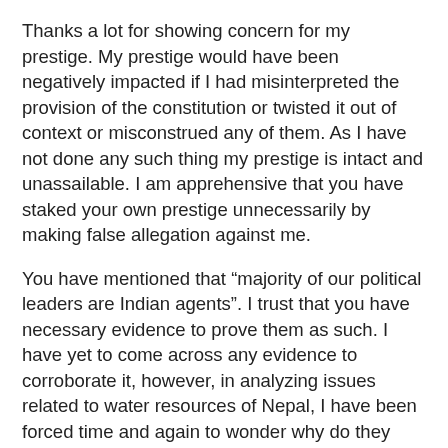Thanks a lot for showing concern for my prestige. My prestige would have been negatively impacted if I had misinterpreted the provision of the constitution or twisted it out of context or misconstrued any of them. As I have not done any such thing my prestige is intact and unassailable. I am apprehensive that you have staked your own prestige unnecessarily by making false allegation against me.
You have mentioned that “majority of our political leaders are Indian agents”. I trust that you have necessary evidence to prove them as such. I have yet to come across any evidence to corroborate it, however, in analyzing issues related to water resources of Nepal, I have been forced time and again to wonder why do they accept deals such that India ends up being disproportionately benefitted from these deals. This is not limited to politicos only. Majority of bureaucrats and businessmen also behave in similar fashion. To add insult to injury, they come up with convoluted logic to defend such bad deals. Similarly, most of the politicos are corrupt; there is ample evidence to prove it. I have had many a occasions to wonder whether they are corrupt and therefore, always sign